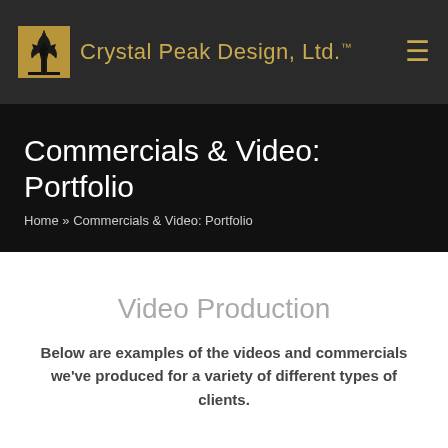Crystal Peak Design, Ltd.™
Commercials & Video: Portfolio
Home » Commercials & Video: Portfolio
Video Production
Below are examples of the videos and commercials we've produced for a variety of different types of clients.